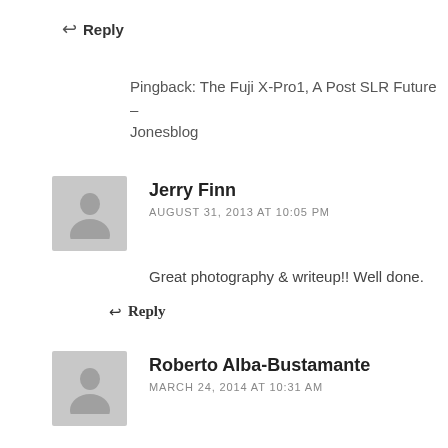↩ Reply
Pingback: The Fuji X-Pro1, A Post SLR Future – Jonesblog
Jerry Finn
AUGUST 31, 2013 AT 10:05 PM
Great photography & writeup!! Well done.
↩ Reply
Roberto Alba-Bustamante
MARCH 24, 2014 AT 10:31 AM